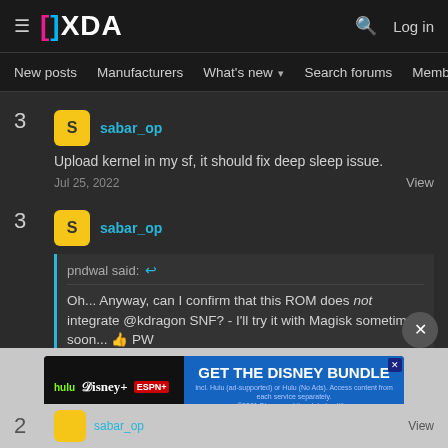XDA Forums — New posts | Manufacturers | What's new | Search forums | Members
3 sabar_op — Upload kernel in my sf, it should fix deep sleep issue. Jul 25, 2022 View
3 sabar_op — pndwal said: ↩ Oh... Anyway, can I confirm that this ROM does not integrate @kdragon SNF? - I'll try it with Magisk sometime soon... 👍 PW
[Figure (screenshot): Disney Bundle advertisement banner with Hulu, Disney+, ESPN+ logos and GET THE DISNEY BUNDLE call to action]
2 sabar_op View